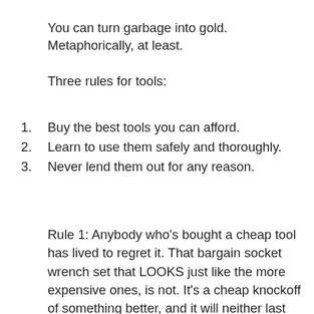You can turn garbage into gold. Metaphorically, at least.
Three rules for tools:
1. Buy the best tools you can afford.
2. Learn to use them safely and thoroughly.
3. Never lend them out for any reason.
Rule 1: Anybody who's bought a cheap tool has lived to regret it. That bargain socket wrench set that LOOKS just like the more expensive ones, is not. It's a cheap knockoff of something better, and it will neither last nor perform as well. And there's nothing worse than getting halfway through a critical job and having your socket or screwdriver or router bit fail on you. The cheaper ones are also dangerous. If you're leaning on a wrench to try to break free a rusty nut, and the socket breaks loose, it's